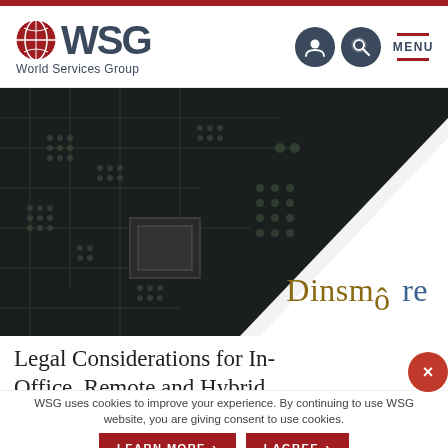[Figure (logo): WSG World Services Group logo with red globe icon and dark teal WSG text]
[Figure (screenshot): Website header navigation with user icon, search icon, and MENU button with red bars]
[Figure (photo): Circuit board background image (dark/black PCB with traces and components) with Dinsmore law firm logo overlaid on white diagonal section]
Legal Considerations for In-Office, Remote and Hybrid
WSG uses cookies to improve your experience. By continuing to use WSG website, you are giving consent to use cookies.
LEARN MORE
I AGREE